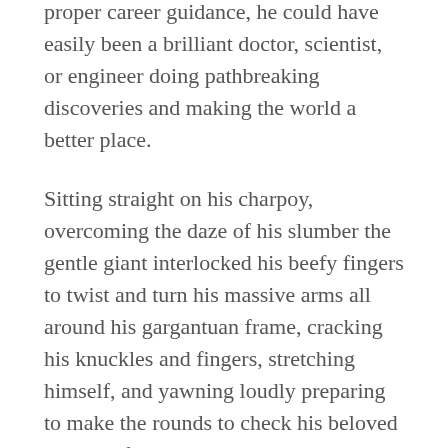proper career guidance, he could have easily been a brilliant doctor, scientist, or engineer doing pathbreaking discoveries and making the world a better place.
Sitting straight on his charpoy, overcoming the daze of his slumber the gentle giant interlocked his beefy fingers to twist and turn his massive arms all around his gargantuan frame, cracking his knuckles and fingers, stretching himself, and yawning loudly preparing to make the rounds to check his beloved tracks before the train came.
It was just before dawn, the shrill cries of the cicadas had finally fallen silent, the nightly predators had crawled back into their dens, and the occasional chirps and hoots of morning birds came from amidst the wet